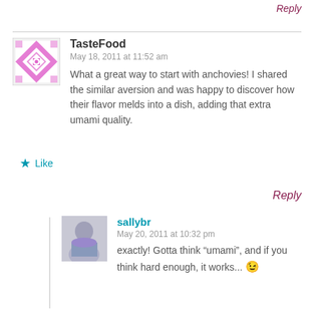Reply
TasteFood
May 18, 2011 at 11:52 am
What a great way to start with anchovies! I shared the similar aversion and was happy to discover how their flavor melds into a dish, adding that extra umami quality.
Like
Reply
sallybr
May 20, 2011 at 10:32 pm
exactly! Gotta think “umami”, and if you think hard enough, it works... 😉